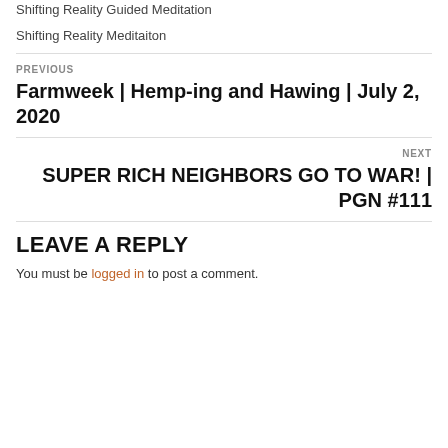Shifting Reality Guided Meditation
Shifting Reality Meditaiton
PREVIOUS
Farmweek | Hemp-ing and Hawing | July 2, 2020
NEXT
SUPER RICH NEIGHBORS GO TO WAR! | PGN #111
LEAVE A REPLY
You must be logged in to post a comment.